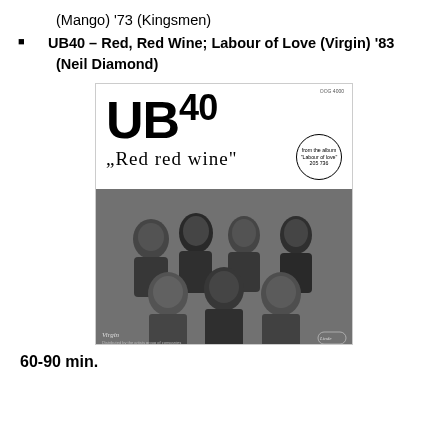(Mango) '73 (Kingsmen)
UB40 – Red, Red Wine; Labour of Love (Virgin) '83 (Neil Diamond)
[Figure (photo): Album cover for UB40 'Red Red Wine' from the album Labour of Love (Virgin). Shows the UB40 logo in large bold text at top, subtitle '"Red red wine"' in serif font, a circular badge reading 'from the album "Labour of love" 205 736', and a black-and-white group photo of the band members below. Virgin and Linde logos appear at bottom corners.]
60-90 min.